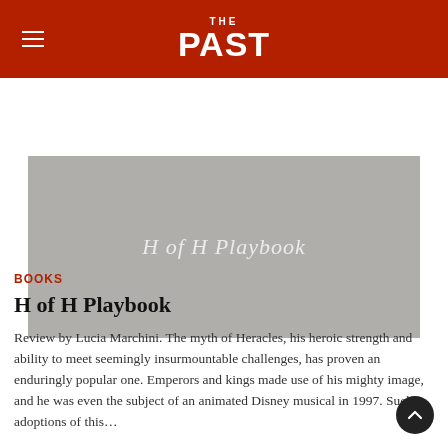THE PAST
[Figure (photo): Book cover image showing a gray/beige background with the text 'H of H Playbook' in light lettering]
BOOKS
H of H Playbook
Review by Lucia Marchini. The myth of Heracles, his heroic strength and ability to meet seemingly insurmountable challenges, has proven an enduringly popular one. Emperors and kings made use of his mighty image, and he was even the subject of an animated Disney musical in 1997. Such adoptions of this…